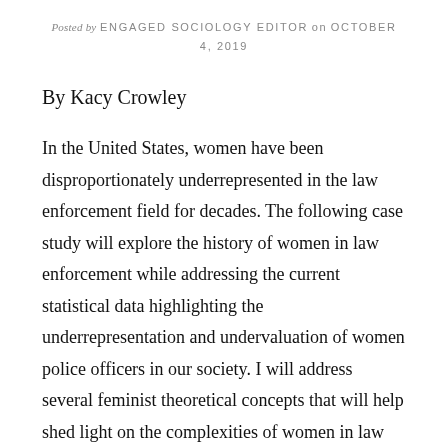Posted by ENGAGED SOCIOLOGY EDITOR on OCTOBER 4, 2019
By Kacy Crowley
In the United States, women have been disproportionately underrepresented in the law enforcement field for decades. The following case study will explore the history of women in law enforcement while addressing the current statistical data highlighting the underrepresentation and undervaluation of women police officers in our society. I will address several feminist theoretical concepts that will help shed light on the complexities of women in law enforcement. Then, I will discuss two policies that appear to hinder the advancements of female police